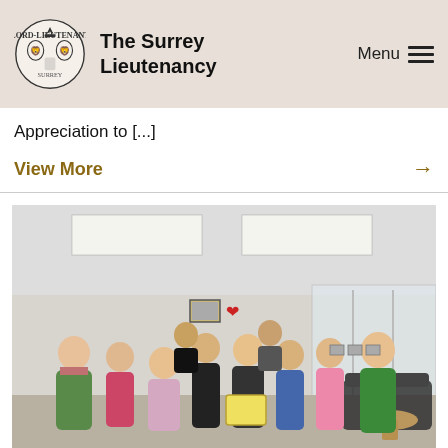The Surrey Lieutenancy
Appreciation to [...]
View More →
[Figure (photo): Group photo of approximately ten people standing together in an office environment. Several are wearing green aprons/tabards. One person in the centre is holding a yellow certificate. The office has glass partitions, recessed ceiling lights, and a sofa visible in the background on the right. There is a framed picture and a red heart-shaped decoration on the back wall.]